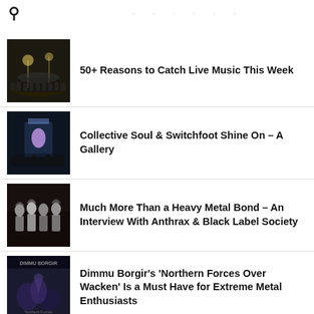🔍
· · · · · ·
50+ Reasons to Catch Live Music This Week
Collective Soul & Switchfoot Shine On – A Gallery
Much More Than a Heavy Metal Bond – An Interview With Anthrax & Black Label Society
Dimmu Borgir's 'Northern Forces Over Wacken' Is a Must Have for Extreme Metal Enthusiasts